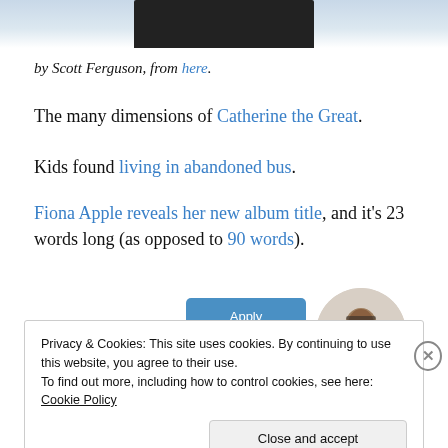[Figure (photo): Top portion of a person in a dark jacket against a light sky background, cropped at torso level.]
by Scott Ferguson, from here.
The many dimensions of Catherine the Great.
Kids found living in abandoned bus.
Fiona Apple reveals her new album title, and it’s 23 words long (as opposed to 90 words).
[Figure (illustration): Apply button (blue rounded rectangle)]
[Figure (photo): Circular avatar photo of a man with glasses, hand on chin, thinking pose.]
Privacy & Cookies: This site uses cookies. By continuing to use this website, you agree to their use.
To find out more, including how to control cookies, see here: Cookie Policy
Close and accept